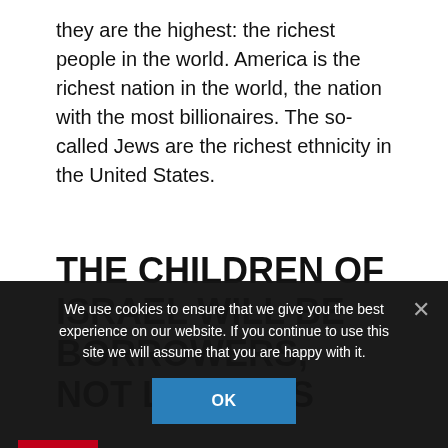they are the highest: the richest people in the world. America is the richest nation in the world, the nation with the most billionaires. The so-called Jews are the richest ethnicity in the United States.
THE CHILDREN OF ISRAEL WILL BE BORROWERS, NOT LENDERS
We use cookies to ensure that we give you the best experience on our website. If you continue to use this site we will assume that you are happy with it.